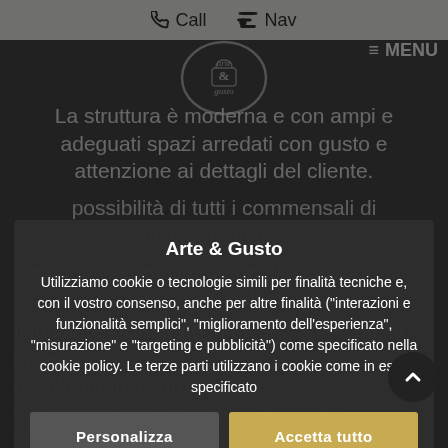[Figure (screenshot): Mobile website screenshot showing a restaurant page with navigation bar (Call, Nav), menu icon, background text about the restaurant, and a cookie consent modal overlay.]
Call  Nav  ≡ MENU
La struttura è moderna e con ampi e adeguati spazi arredati con gusto e attenzione ai dettagli del cliente.
Arte & Gusto
Utilizziamo cookie o tecnologie simili per finalità tecniche e, con il vostro consenso, anche per altre finalità ("interazioni e funzionalità semplici", "miglioramento dell'esperienza", "misurazione" e "targeting e pubblicità") come specificato nella cookie policy. Le terze parti utilizzano i cookie come in essa specificato
Personalizza
Accetta tutto
Il locale è strutturato in diversi ambienti, la veranda riscaldata in inverno, e il dehors che tutti i giorni si anima l'aperitivo o per una pausa gustosa in
Strettamente necessari della giornata